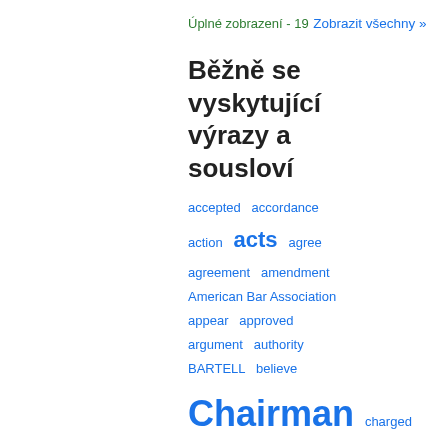Úplné zobrazení - 19
Zobrazit všechny »
Běžně se vyskytující výrazy a sousloví
accepted  accordance  action  acts  agree  agreement  amendment  American Bar Association  appear  approved  argument  authority  BARTELL  believe  Chairman  charged  clear  committed  Committee